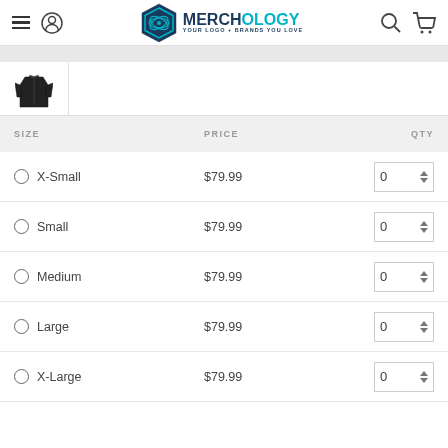[Figure (logo): Merchology logo - hexagon icon with 'MERCH' in dark blue and 'OLOGY' in teal, tagline 'YOUR LOGO + BRANDS YOU LOVE']
| SIZE | PRICE | QTY |
| --- | --- | --- |
| X-Small | $79.99 | 0 |
| Small | $79.99 | 0 |
| Medium | $79.99 | 0 |
| Large | $79.99 | 0 |
| X-Large | $79.99 | 0 |